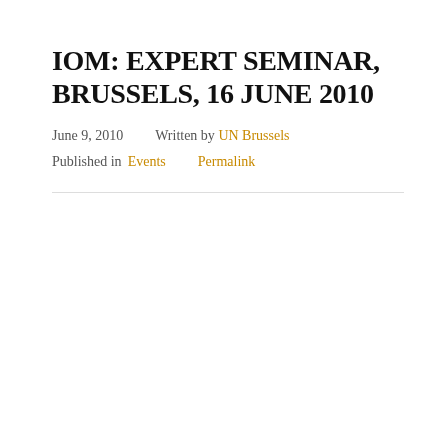IOM: EXPERT SEMINAR, BRUSSELS, 16 JUNE 2010
June 9, 2010    Written by UN Brussels
Published in Events    Permalink